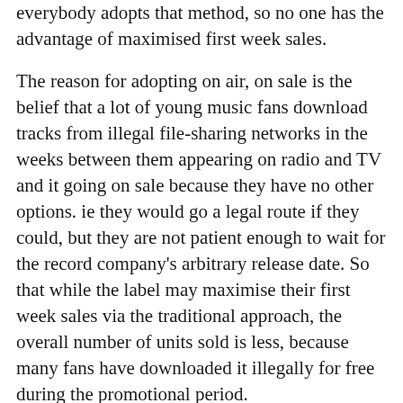everybody adopts that method, so no one has the advantage of maximised first week sales.
The reason for adopting on air, on sale is the belief that a lot of young music fans download tracks from illegal file-sharing networks in the weeks between them appearing on radio and TV and it going on sale because they have no other options. ie they would go a legal route if they could, but they are not patient enough to wait for the record company's arbitrary release date. So that while the label may maximise their first week sales via the traditional approach, the overall number of units sold is less, because many fans have downloaded it illegally for free during the promotional period.
Music Week has been tracking how much Sony, Universal and their major label rivals EMI and Warner – whose commitment to on air, on sale was less firm from the go – have been using the on air, on sale